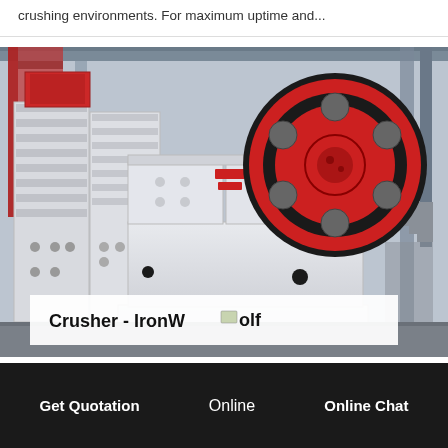crushing environments. For maximum uptime and...
[Figure (photo): Industrial jaw crushers in a factory setting. Large white/cream colored crushing machines with a prominent red and black flywheel visible on the right side. Multiple identical machines lined up in the background. Factory structure with red beams visible.]
Crusher - IronWolf
Get Quotation    Online    Online Chat